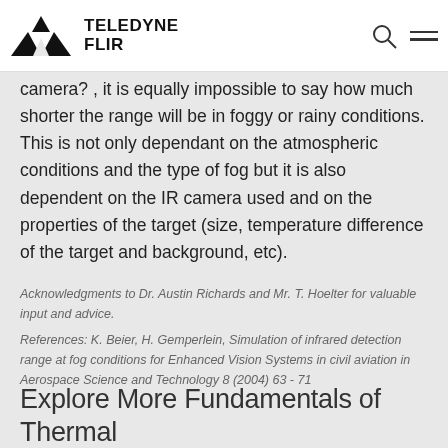TELEDYNE FLIR
camera? , it is equally impossible to say how much shorter the range will be in foggy or rainy conditions. This is not only dependant on the atmospheric conditions and the type of fog but it is also dependent on the IR camera used and on the properties of the target (size, temperature difference of the target and background, etc).
Acknowledgments to Dr. Austin Richards and Mr. T. Hoelter for valuable input and advice.
References: K. Beier, H. Gemperlein, Simulation of infrared detection range at fog conditions for Enhanced Vision Systems in civil aviation in Aerospace Science and Technology 8 (2004) 63 - 71
Explore More Fundamentals of Thermal